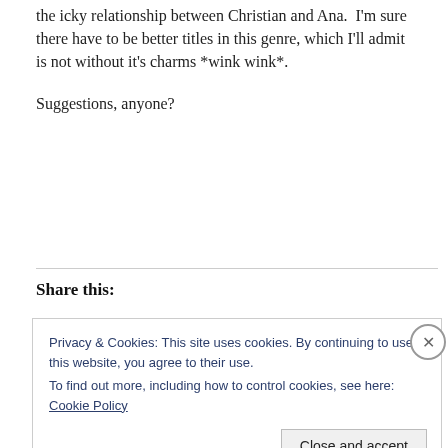the icky relationship between Christian and Ana.  I'm sure there have to be better titles in this genre, which I'll admit is not without it's charms *wink wink*.
Suggestions, anyone?
Share this:
Privacy & Cookies: This site uses cookies. By continuing to use this website, you agree to their use.
To find out more, including how to control cookies, see here: Cookie Policy
Close and accept